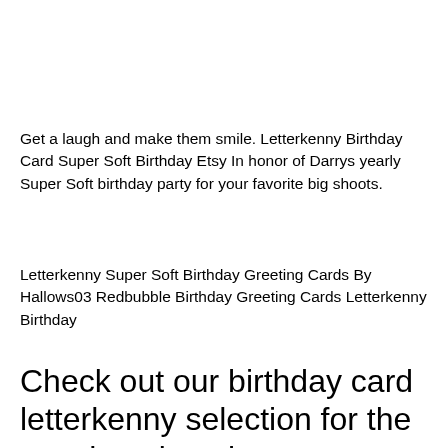Get a laugh and make them smile. Letterkenny Birthday Card Super Soft Birthday Etsy In honor of Darrys yearly Super Soft birthday party for your favorite big shoots.
Letterkenny Super Soft Birthday Greeting Cards By Hallows03 Redbubble Birthday Greeting Cards Letterkenny Birthday
Check out our birthday card letterkenny selection for the very best in unique or custom handmade pieces from our